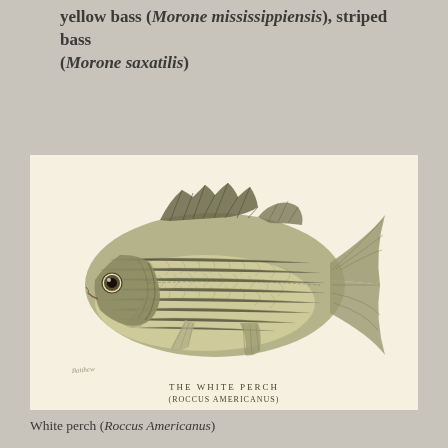yellow bass (Morone mississippiensis), striped bass (Morone saxatilis)
[Figure (illustration): Vintage natural history illustration of a White Perch (Roccus Americanus) fish shown in side profile, detailed painting on cream/ivory background. The fish has visible scales, dorsal spines, pectoral and pelvic fins. Below the fish is text reading 'THE WHITE PERCH (ROCCUS AMERICANUS)'. An artist's signature appears in the lower left.]
White perch (Roccus Americanus)